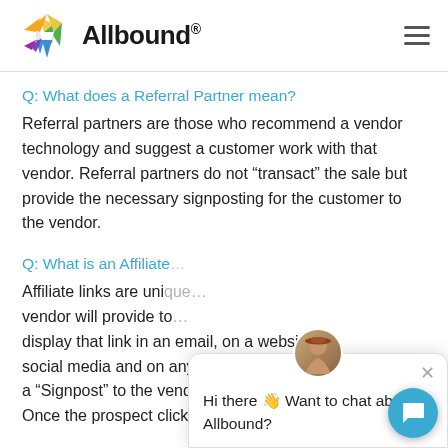Allbound
Q: What does a Referral Partner mean?
Referral partners are those who recommend a vendor technology and suggest a customer work with that vendor. Referral partners do not “transact” the sale but provide the necessary signposting for the customer to the vendor.
Q: What is an Affiliate…
Affiliate links are unique… vendor will provide to… display that link in an email, on a website, on social media and on any promotional materials… a “Signpost” to the vendor they are recommending… Once the prospect clicks on that link, the vendor